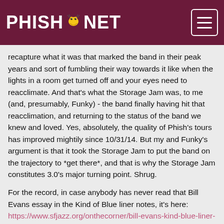PHISH.NET
recapture what it was that marked the band in their peak years and sort of fumbling their way towards it like when the lights in a room get turned off and your eyes need to reacclimate. And that's what the Storage Jam was, to me (and, presumably, Funky) - the band finally having hit that reacclimation, and returning to the status of the band we knew and loved. Yes, absolutely, the quality of Phish's tours has improved mightily since 10/31/14. But my and Funky's argument is that it took the Storage Jam to put the band on the trajectory to *get there*, and that is why the Storage Jam constitutes 3.0's major turning point. Shrug.
For the record, in case anybody has never read that Bill Evans essay in the Kind of Blue liner notes, it's here: https://www.sfjazz.org/onthecorner/bill-evans-kind-blue-liner-notes/